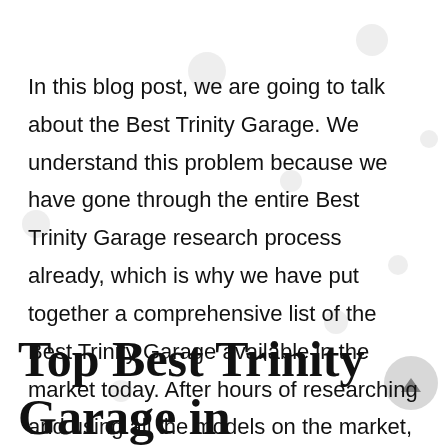In this blog post, we are going to talk about the Best Trinity Garage. We understand this problem because we have gone through the entire Best Trinity Garage research process already, which is why we have put together a comprehensive list of the Best Trinity Garage available in the market today. After hours of researching and using all the models on the market, we find the Best Trinity Garage of 2022. Check out our ranking below!
Top Best Trinity Garage in